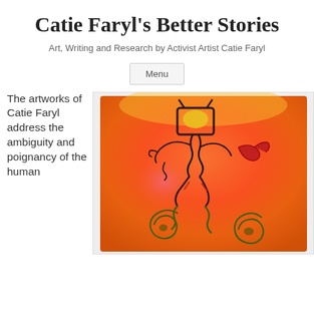Catie Faryl's Better Stories
Art, Writing and Research by Activist Artist Catie Faryl
Menu
The artworks of Catie Faryl address the ambiguity and poignancy of the human
[Figure (illustration): Colorful expressionist painting on orange/red background featuring a figure with a television set for a head, dark swirling lines forming the body, spiral shapes at the bottom, and a red bird-like shape to the right.]